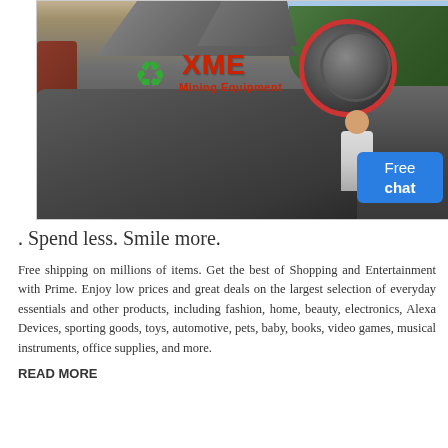[Figure (photo): Photo of a large industrial mining/sand washing machine with XME Mining Equipment branding logo (green recycle symbol and red text), showing heavy grey metal machinery in an outdoor yard with trees and sky in background. A 'Free chat' button overlay appears in the bottom-right corner.]
. Spend less. Smile more.
Free shipping on millions of items. Get the best of Shopping and Entertainment with Prime. Enjoy low prices and great deals on the largest selection of everyday essentials and other products, including fashion, home, beauty, electronics, Alexa Devices, sporting goods, toys, automotive, pets, baby, books, video games, musical instruments, office supplies, and more.
READ MORE